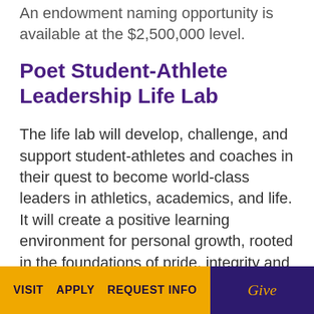An endowment naming opportunity is available at the $2,500,000 level.
Poet Student-Athlete Leadership Life Lab
The life lab will develop, challenge, and support student-athletes and coaches in their quest to become world-class leaders in athletics, academics, and life. It will create a positive learning environment for personal growth, rooted in the foundations of pride, integrity and commitment to excellence. The life lab's goal is to create a strong network of disciplined and confident Poet leaders, who are prepared to become Champions in Life...
VISIT   APPLY   REQUEST INFO   Give